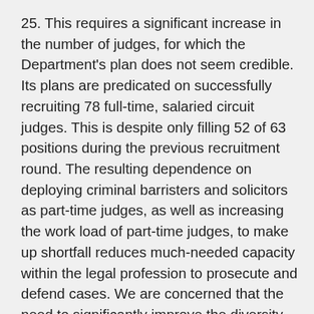25. This requires a significant increase in the number of judges, for which the Department's plan does not seem credible. Its plans are predicated on successfully recruiting 78 full-time, salaried circuit judges. This is despite only filling 52 of 63 positions during the previous recruitment round. The resulting dependence on deploying criminal barristers and solicitors as part-time judges, as well as increasing the work load of part-time judges, to make up shortfall reduces much-needed capacity within the legal profession to prosecute and defend cases. We are concerned that the need to significantly improve the diversity of the judiciary will be overlooked in the Department's efforts to boost the number of judges.